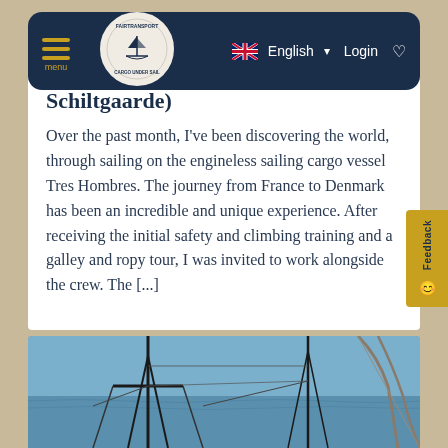Fairtransport Cargo Under Sail — navigation bar with menu, logo, English language selector, Login
Schiltgaarde)
Over the past month, I've been discovering the world, through sailing on the engineless sailing cargo vessel Tres Hombres. The journey from France to Denmark has been an incredible and unique experience. After receiving the initial safety and climbing training and a galley and ropy tour, I was invited to work alongside the crew. The [...]
[Figure (photo): Photo of a sailing vessel's rigging and ropes against a blue sea background, taken from the deck looking toward the bow.]